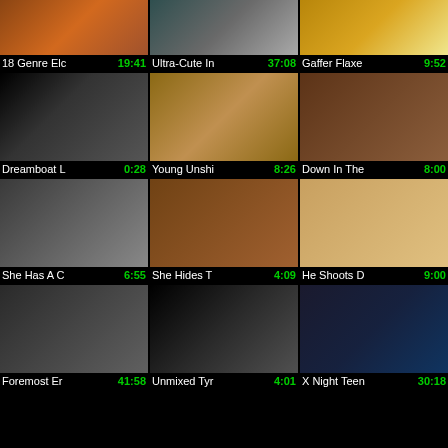[Figure (screenshot): Video thumbnail grid row 1: three adult video thumbnails]
18 Genre Eld  19:41   Ultra-Cute In  37:08   Gaffer Flaxe  9:52
[Figure (screenshot): Video thumbnail grid row 2: three adult video thumbnails]
Dreamboat L  0:28   Young Unshi  8:26   Down In The  8:00
[Figure (screenshot): Video thumbnail grid row 3: three adult video thumbnails]
She Has A C  6:55   She Hides T  4:09   He Shoots D  9:00
[Figure (screenshot): Video thumbnail grid row 4: three adult video thumbnails]
Foremost Er  41:58   Unmixed Tyr  4:01   X Night Teen  30:18